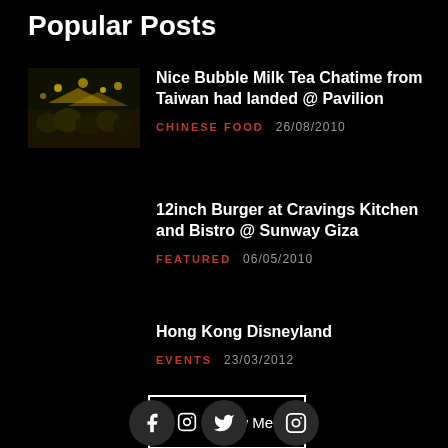Popular Posts
Nice Bubble Milk Tea Chatime from Taiwan had landed @ Pavilion — CHINESE FOOD  26/08/2010
12inch Burger at Cravings Kitchen and Bistro @ Sunway Giza — FEATURED  06/05/2010
Hong Kong Disneyland — EVENTS  23/03/2012
[Figure (other): Follow Me button with Instagram icon]
[Figure (other): Social media icons: Facebook, Twitter, Instagram]